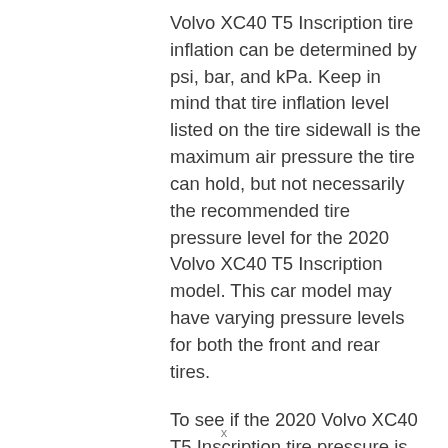Volvo XC40 T5 Inscription tire inflation can be determined by psi, bar, and kPa. Keep in mind that tire inflation level listed on the tire sidewall is the maximum air pressure the tire can hold, but not necessarily the recommended tire pressure level for the 2020 Volvo XC40 T5 Inscription model. This car model may have varying pressure levels for both the front and rear tires.
To see if the 2020 Volvo XC40 T5 Inscription tire pressure is right, you'll need to find the recommended tire
x